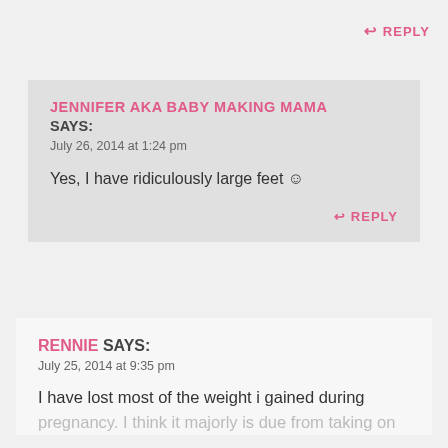↩ REPLY
JENNIFER AKA BABY MAKING MAMA SAYS:
July 26, 2014 at 1:24 pm

Yes, I have ridiculously large feet ☺

↩ REPLY
RENNIE SAYS:
July 25, 2014 at 9:35 pm

I have lost most of the weight i gained during pregnancy. I think it majorly is due from taking on